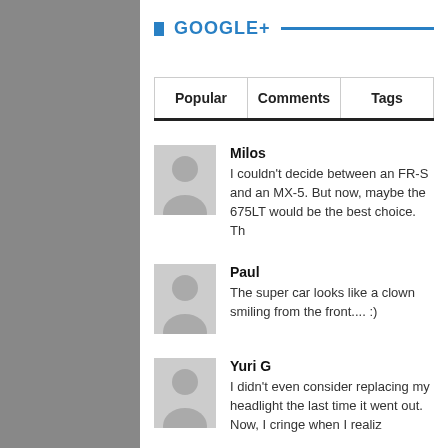GOOGLE+
| Popular | Comments | Tags |
| --- | --- | --- |
Milos
I couldn't decide between an FR-S and an MX-5. But now, maybe the 675LT would be the best choice. Th
Paul
The super car looks like a clown smiling from the front.... :)
Yuri G
I didn't even consider replacing my headlight the last time it went out. Now, I cringe when I realiz